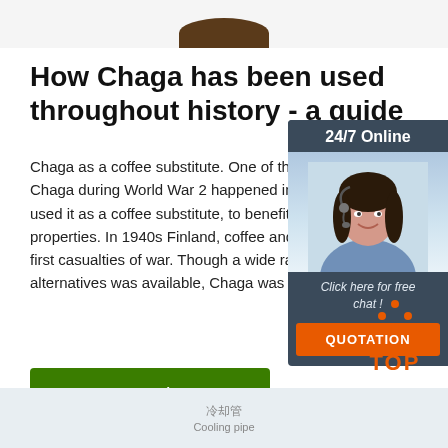[Figure (photo): Partial view of a brown basket/hat at very top of page]
How Chaga has been used throughout history - a guide
Chaga as a coffee substitute. One of the lesser-known uses of Chaga during World War 2 happened in Finland, used it as a coffee substitute, to benefit from its e properties. In 1940s Finland, coffee and sugar w first casualties of war. Though a wide range of co alternatives was available, Chaga was ...
[Figure (photo): Chat widget with woman wearing headset, 24/7 Online label, Click here for free chat text, and QUOTATION orange button]
[Figure (illustration): Orange TOP icon with decorative dots arranged in a triangle above the text TOP]
[Figure (photo): Bottom strip showing partial image with Chinese text 冷却管 Cooling pipe]